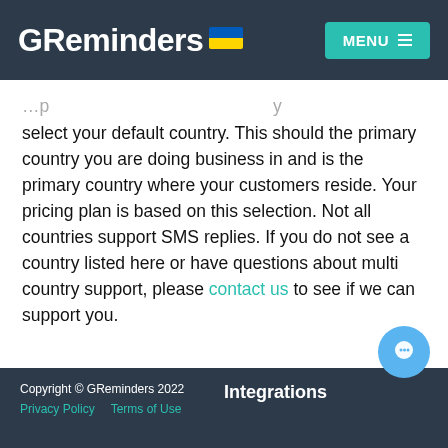GReminders MENU
select your default country. This should the primary country you are doing business in and is the primary country where your customers reside. Your pricing plan is based on this selection. Not all countries support SMS replies. If you do not see a country listed here or have questions about multi country support, please contact us to see if we can support you.
Copyright © GReminders 2022  Privacy Policy  Terms of Use  Integrations